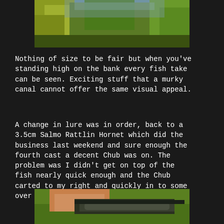[Figure (photo): Outdoor riverside scene with green vegetation, willow-like trees and water visible in background]
Nothing of size to be fair but when you've standing high on the bank every fish take can be seen. Exciting stuff that a murky canal cannot offer the same visual appeal.
A change in lure was in order, back to a 3.5cm Salmo Rattlin Hornet which did the business last weekend and sure enough the fourth cast a decent Chub was on. The problem was I didn't get on top of the fish nearly quick enough and the Chub carted to my right and quickly in to some over hanging thick cover.
[Figure (photo): Close-up photo of a hand holding a fish (Chub) outdoors with grass in background]